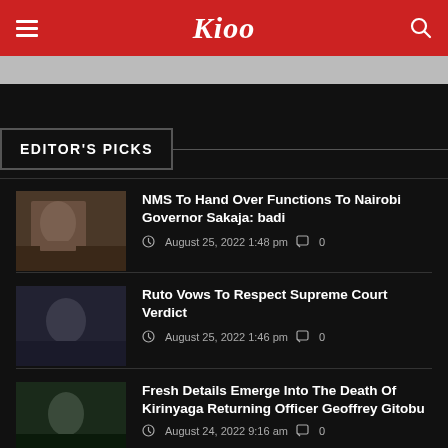Kioo
EDITOR'S PICKS
NMS To Hand Over Functions To Nairobi Governor Sakaja: badi
August 25, 2022 1:48 pm   0
Ruto Vows To Respect Supreme Court Verdict
August 25, 2022 1:46 pm   0
Fresh Details Emerge Into The Death Of Kirinyaga Returning Officer Geoffrey Gitobu
August 24, 2022 9:16 am   0